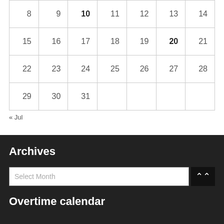| 8 | 9 | 10 | 11 | 12 | 13 | 14 |
| 15 | 16 | 17 | 18 | 19 | 20 | 21 |
| 22 | 23 | 24 | 25 | 26 | 27 | 28 |
| 29 | 30 | 31 |  |  |  |  |
« Jul
Archives
Select Month
Overtime calendar